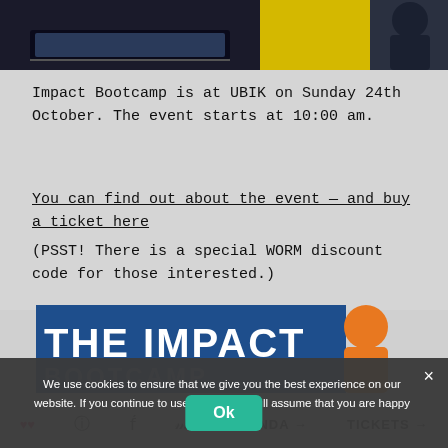[Figure (photo): Top portion of a webpage screenshot showing a photo strip at the top with a person in a dark jacket against a yellow background]
Impact Bootcamp is at UBIK on Sunday 24th October. The event starts at 10:00 am.
You can find out about the event — and buy a ticket here
(PSST! There is a special WORM discount code for those interested.)
[Figure (screenshot): The Impact Bootcamp banner image with blue background and orange person silhouette, showing text 'THE IMPACT' and partially visible 'BOOTCAMP']
We use cookies to ensure that we give you the best experience on our website. If you continue to use this site we will assume that you are happy with it.
Ok
AGENDA → TICKETS →